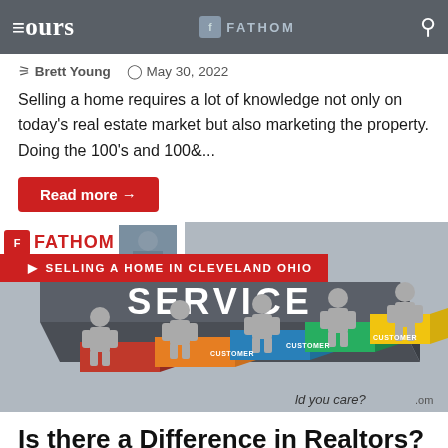yours | FATHOM
Brett Young  May 30, 2022
Selling a home requires a lot of knowledge not only on today's real estate market but also marketing the property. Doing the 100's and 100&...
Read more →
[Figure (photo): Service block with customer figures and colored platforms. Text overlays: FATHOM logo, SELLING A HOME IN CLEVELAND OHIO tag, SERVICE text on 3D block.]
Is there a Difference in Realtors? Why should you care?